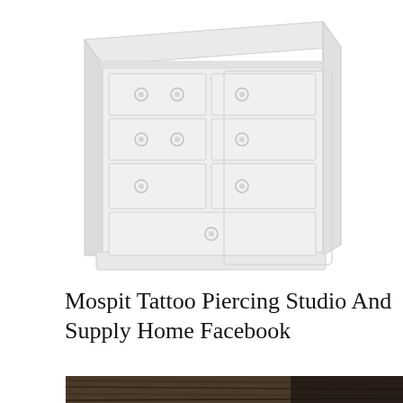[Figure (illustration): A white/light-colored wooden dresser with multiple drawers and round ring pull handles, rendered in a faded/washed-out style against a white background.]
Mospit Tattoo Piercing Studio And Supply Home Facebook
[Figure (photo): A close-up photo of what appears to be hair or fur, dark brown/black coloring, shown at the bottom of the page.]